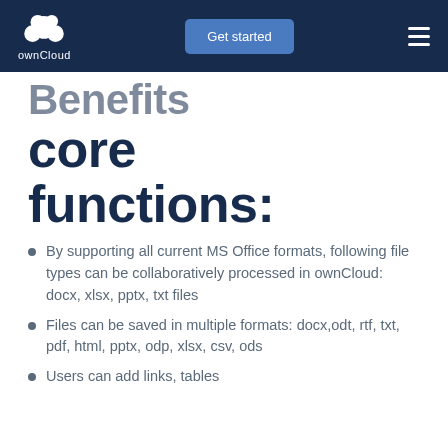ownCloud — Get started
core functions:
By supporting all current MS Office formats, following file types can be collaboratively processed in ownCloud: docx, xlsx, pptx, txt files
Files can be saved in multiple formats: docx,odt, rtf, txt, pdf, html, pptx, odp, xlsx, csv, ods
Users can add links, tables and …